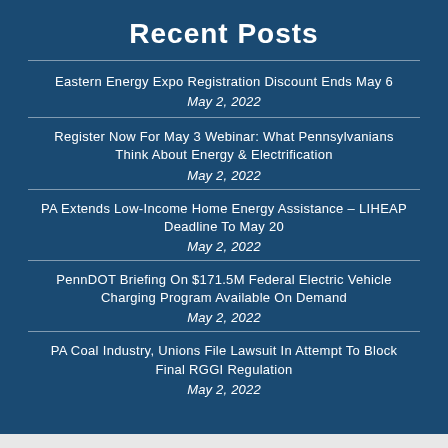Recent Posts
Eastern Energy Expo Registration Discount Ends May 6
May 2, 2022
Register Now For May 3 Webinar: What Pennsylvanians Think About Energy & Electrification
May 2, 2022
PA Extends Low-Income Home Energy Assistance – LIHEAP Deadline To May 20
May 2, 2022
PennDOT Briefing On $171.5M Federal Electric Vehicle Charging Program Available On Demand
May 2, 2022
PA Coal Industry, Unions File Lawsuit In Attempt To Block Final RGGI Regulation
May 2, 2022